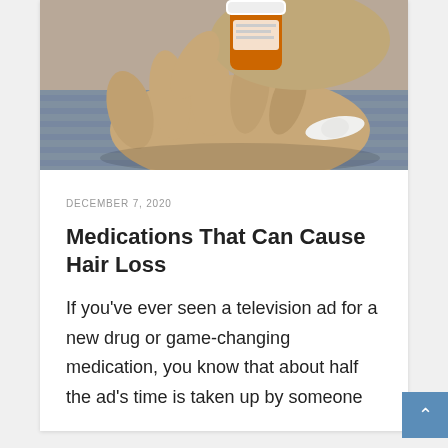[Figure (photo): Close-up photo of a person's hand holding a white pill/capsule, with an orange prescription medicine bottle being tilted to pour the pill into the open palm. The person is wearing a gray striped shirt.]
DECEMBER 7, 2020
Medications That Can Cause Hair Loss
If you’ve ever seen a television ad for a new drug or game-changing medication, you know that about half the ad’s time is taken up by someone